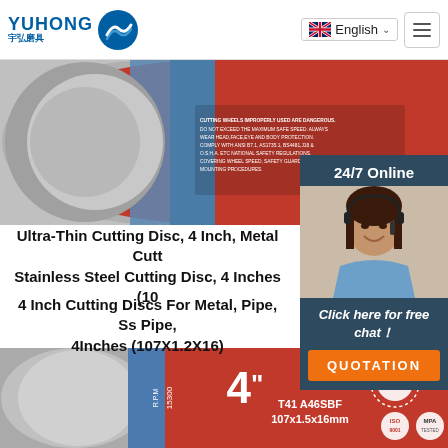YUHONG 宇弘磨具 | English
[Figure (photo): Top partial view of cutting disc showing red and blue disc with safety warning text]
Ultra-Thin Cutting Disc, 4 Inch, Metal Cutt... Stainless Steel Cutting Disc, 4 Inches (10...
4 Inch Cutting Discs For Metal, Pipe, Ss Pipe,... 4Inches (107X1.2X16)
[Figure (photo): Customer service representative with headset, 24/7 Online support panel with Click here for free chat and QUOTATION button]
[Figure (photo): Bottom partial view of red cutting disc showing '4 inch' label, T41 A46SBF 107x1.5x16mm specs, ISO 9001, MPA Tested, TOP certification badges, and R.P.M 15300 marking]